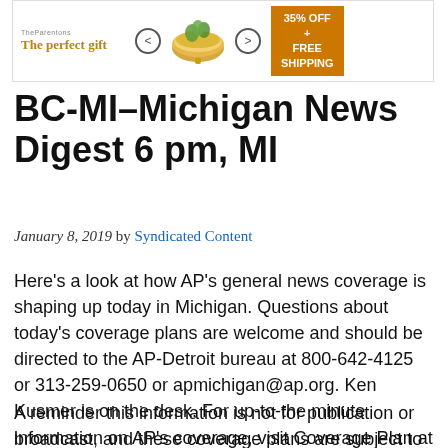[Figure (other): Advertisement banner showing 'The perfect gift' with product image, navigation arrows, and '35% OFF + FREE SHIPPING' offer badge]
BC-MI–Michigan News Digest 6 pm, MI
January 8, 2019 by Syndicated Content
Here's a look at how AP's general news coverage is shaping up today in Michigan. Questions about today's coverage plans are welcome and should be directed to the AP-Detroit bureau at 800-642-4125 or 313-259-0650 or apmichigan@ap.org. Ken Kusmer is on the desk. For up-to-the minute information on AP's coverage, visit Coverage Plan at newsroom.ap.org.
A reminder this information is not for publication or broadcast, and these coverage plans are subject to